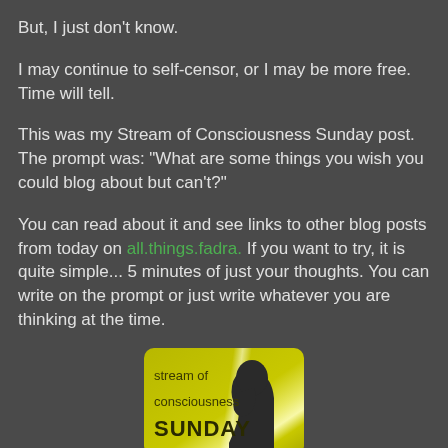But, I just don't know.
I may continue to self-censor, or I may be more free.  Time will tell.
This was my Stream of Consciousness Sunday post.  The prompt was: "What are some things you wish you could blog about but can't?"
You can read about it and see links to other blog posts from today on all.things.fadra.  If you want to try, it is quite simple... 5 minutes of just your thoughts.  You can write on the prompt or just write whatever you are thinking at the time.
[Figure (illustration): Stream of Consciousness Sunday badge/logo with yellow-green gradient background, silhouette of a person's head, text reading 'stream of consciousness SUNDAY']